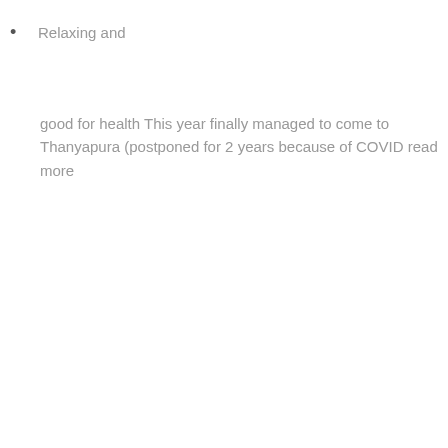Relaxing and
good for health This year finally managed to come to Thanyapura (postponed for 2 years because of COVID read more